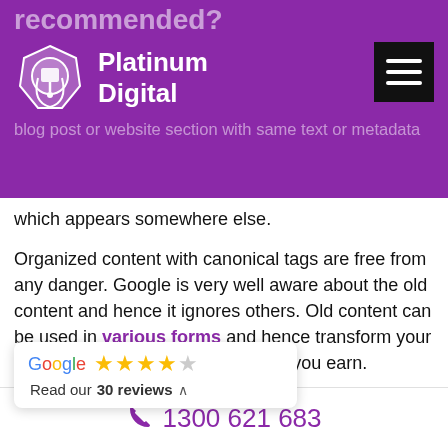recommended?
[Figure (logo): Platinum Digital logo with hexagonal icon and white text on purple background]
blog post or website section with same text or metadata which appears somewhere else.
Organized content with canonical tags are free from any danger. Google is very well aware about the old content and hence it ignores others. Old content can be used in various forms and hence transform your asset into something that can help you earn.
We can say that every blog post can be easily infographic, slides or podcast. the digital footprints and get comes to repurposing the
[Figure (screenshot): Google rating widget showing 4.5 stars and 'Read our 30 reviews' text]
1300 621 683